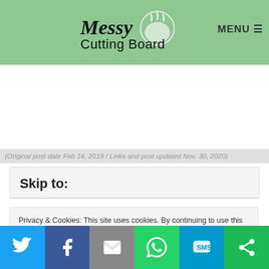Messy Cutting Board — MENU
(Original post date Feb 14, 2019 / Links and post updated Nov. 30, 2020)
Skip to:
Privacy & Cookies: This site uses cookies. By continuing to use this website, you agree to their use.
To find out more, including how to control cookies, see here: Cookie Policy